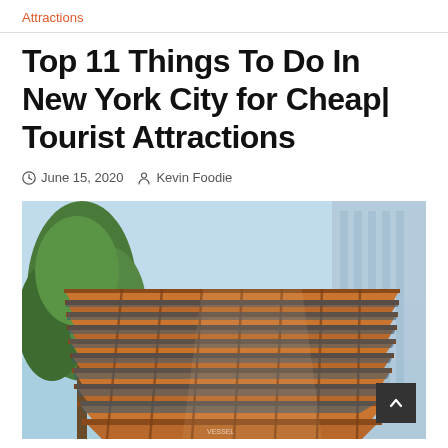Attractions
Top 11 Things To Do In New York City for Cheap| Tourist Attractions
June 15, 2020  Kevin Foodie
[Figure (photo): Looking up at the Vessel structure at Hudson Yards in New York City, showing its honeycomb-like copper/bronze lattice staircase structure against a blue sky, with green trees visible to the left and a glass building to the right.]